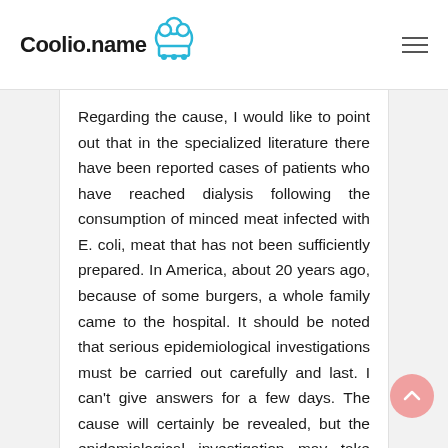Coolio.name
Regarding the cause, I would like to point out that in the specialized literature there have been reported cases of patients who have reached dialysis following the consumption of minced meat infected with E. coli, meat that has not been sufficiently prepared. In America, about 20 years ago, because of some burgers, a whole family came to the hospital. It should be noted that serious epidemiological investigations must be carried out carefully and last. I can't give answers for a few days. The cause will certainly be revealed, but the epidemiological investigation may take longer.
It is important for the population to